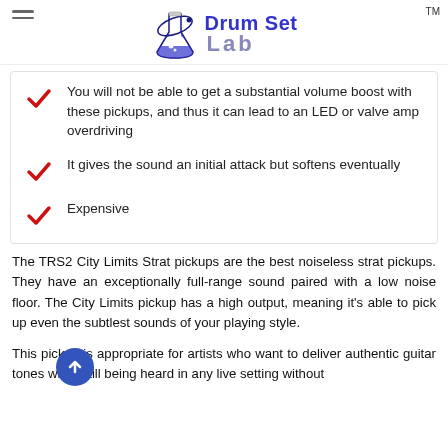Drum Set Lab™
You will not be able to get a substantial volume boost with these pickups, and thus it can lead to an LED or valve amp overdriving
It gives the sound an initial attack but softens eventually
Expensive
The TRS2 City Limits Strat pickups are the best noiseless strat pickups. They have an exceptionally full-range sound paired with a low noise floor. The City Limits pickup has a high output, meaning it's able to pick up even the subtlest sounds of your playing style.
This pickup is appropriate for artists who want to deliver authentic guitar tones while still being heard in any live setting without